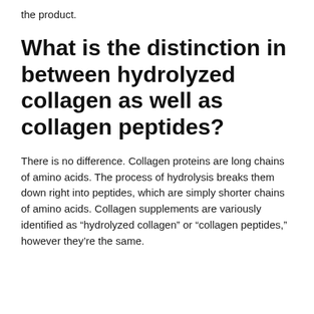the product.
What is the distinction in between hydrolyzed collagen as well as collagen peptides?
There is no difference. Collagen proteins are long chains of amino acids. The process of hydrolysis breaks them down right into peptides, which are simply shorter chains of amino acids. Collagen supplements are variously identified as “hydrolyzed collagen” or “collagen peptides,” however they’re the same.